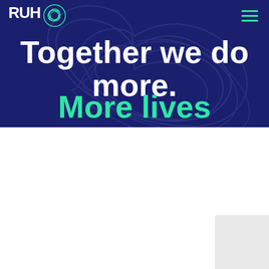[Figure (logo): RUHX logo with teal decorative icon on dark navy background header]
Together we do more.
More lives
At RUHX, we're more than a hospital charity.
We go further to give every patient the extra